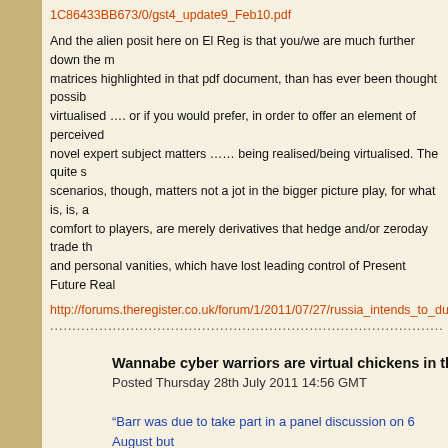1C86433BB673/0/gst4_update9_Feb10.pdf
And the alien posit here on El Reg is that you/we are much further down the matrices highlighted in that pdf document, than has ever been thought possible virtualised .... or if you would prefer, in order to offer an element of perceived novel expert subject matters ...... being realised/being virtualised. The quite scenarios, though, matters not a jot in the bigger picture play, for what is, is, a comfort to players, are merely derivatives that hedge and/or zeroday trade th and personal vanities, which have lost leading control of Present Future Real
http://forums.theregister.co.uk/forum/1/2011/07/27/russia_intends_to_dump_
.....................................................................................
Wannabe cyber warriors are virtual chickens in the real wor
Posted Thursday 28th July 2011 14:56 GMT
“Barr was due to take part in a panel discussion on 6 August but threatened legal injunction by lawyers acting for his former emp reports.”